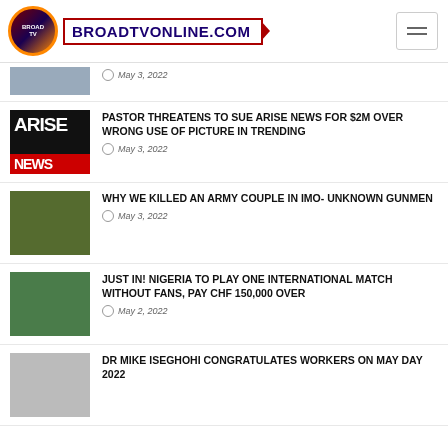BROADTVONLINE.COM
May 3, 2022
PASTOR THREATENS TO SUE ARISE NEWS FOR $2M OVER WRONG USE OF PICTURE IN TRENDING — May 3, 2022
WHY WE KILLED AN ARMY COUPLE IN IMO- UNKNOWN GUNMEN — May 3, 2022
JUST IN! NIGERIA TO PLAY ONE INTERNATIONAL MATCH WITHOUT FANS, PAY CHF 150,000 OVER — May 2, 2022
DR MIKE ISEGHOHI CONGRATULATES WORKERS ON MAY DAY 2022